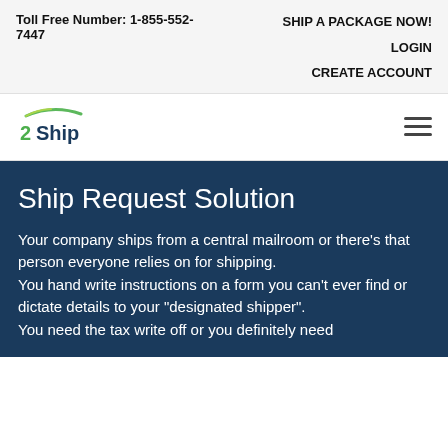Toll Free Number: 1-855-552-7447 | SHIP A PACKAGE NOW! | LOGIN | CREATE ACCOUNT
[Figure (logo): 2Ship logo with green swoosh arc above the text '2Ship']
Ship Request Solution
Your company ships from a central mailroom or there's that person everyone relies on for shipping.
You hand write instructions on a form you can't ever find or dictate details to your "designated shipper".
You need the tax write off or you definitely need